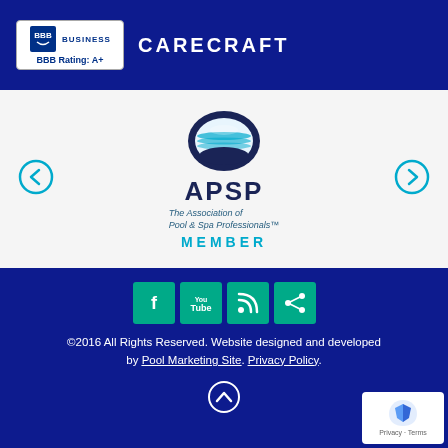[Figure (logo): BBB Accredited Business badge with BBB Rating: A+]
CARECRAFT
[Figure (logo): APSP - The Association of Pool & Spa Professionals MEMBER logo with circular globe emblem]
[Figure (infographic): Social media icons: Facebook, YouTube, RSS, Share on teal/green square backgrounds]
©2016 All Rights Reserved. Website designed and developed by Pool Marketing Site. Privacy Policy.
[Figure (other): reCAPTCHA badge - Privacy Terms]